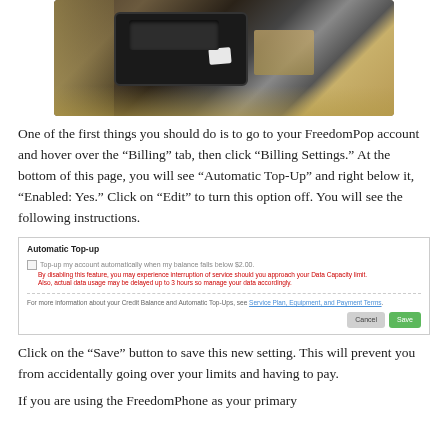[Figure (photo): Close-up photo of a smartphone with SIM card tray open, showing a SIM card partially inserted, on a textured surface]
One of the first things you should do is to go to your FreedomPop account and hover over the “Billing” tab, then click “Billing Settings.” At the bottom of this page, you will see “Automatic Top-Up” and right below it, “Enabled: Yes.” Click on “Edit” to turn this option off. You will see the following instructions.
[Figure (screenshot): Screenshot of Automatic Top-up settings page with a checkbox, warning text in red, info text, and Cancel/Save buttons]
Click on the “Save” button to save this new setting. This will prevent you from accidentally going over your limits and having to pay.
If you are using the FreedomPhone as your primary